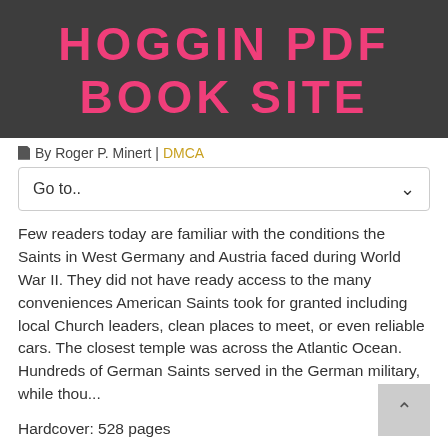HOGGIN PDF BOOK SITE
By Roger P. Minert | DMCA
Go to..
Few readers today are familiar with the conditions the Saints in West Germany and Austria faced during World War II. They did not have ready access to the many conveniences American Saints took for granted including local Church leaders, clean places to meet, or even reliable cars. The closest temple was across the Atlantic Ocean. Hundreds of German Saints served in the German military, while thou...
Hardcover: 528 pages
Publisher: Deseret Book Company (August 3, 2011)
Language: English
ISBN-10: 0842527982
ISBN-13: 978-0842527989